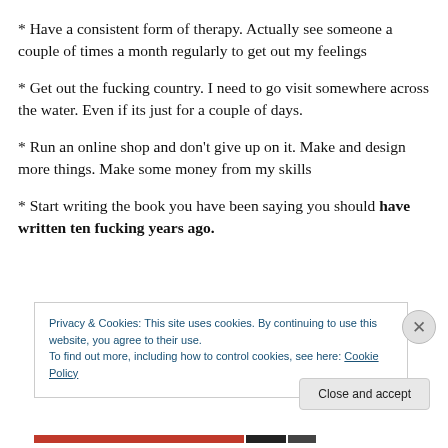* Have a consistent form of therapy. Actually see someone a couple of times a month regularly to get out my feelings
* Get out the fucking country. I need to go visit somewhere across the water. Even if its just for a couple of days.
* Run an online shop and don't give up on it. Make and design more things. Make some money from my skills
* Start writing the book you have been saying you should have written ten fucking years ago.
Privacy & Cookies: This site uses cookies. By continuing to use this website, you agree to their use.
To find out more, including how to control cookies, see here: Cookie Policy